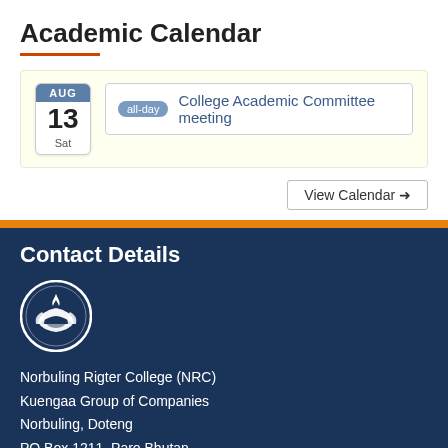Academic Calendar
all-day  College Academic Committee meeting  AUG 13 Sat
View Calendar →
Contact Details
[Figure (logo): Norbuling Rigter College circular logo with flame and leaf motif in white on dark blue background]
Norbuling Rigter College (NRC)
Kuengaa Group of Companies
Norbuling, Doteng
PO Box 1211, Paro Bhutan
Phone
(Office) : +975 8 271 313
Email